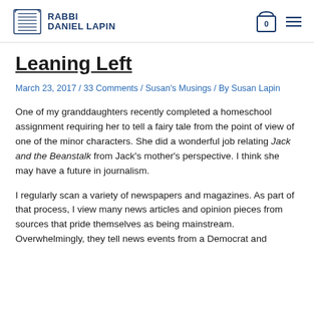RABBI DANIEL LAPIN
Leaning Left
March 23, 2017 / 33 Comments / Susan's Musings / By Susan Lapin
One of my granddaughters recently completed a homeschool assignment requiring her to tell a fairy tale from the point of view of one of the minor characters. She did a wonderful job relating Jack and the Beanstalk from Jack's mother's perspective. I think she may have a future in journalism.
I regularly scan a variety of newspapers and magazines. As part of that process, I view many news articles and opinion pieces from sources that pride themselves as being mainstream. Overwhelmingly, they tell news events from a Democrat and